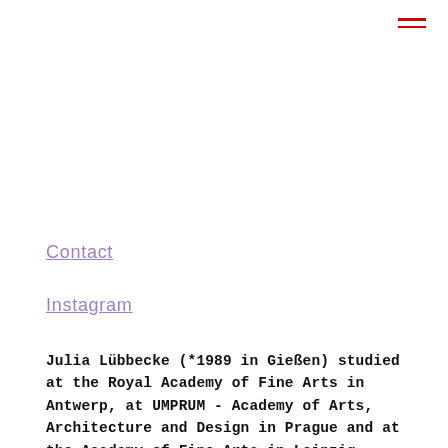— (menu icon)
Contact
Instagram
Julia Lübbecke (*1989 in Gießen) studied at the Royal Academy of Fine Arts in Antwerp, at UMPRUM - Academy of Arts, Architecture and Design in Prague and at the Academy of Fine Arts in Leipzig.